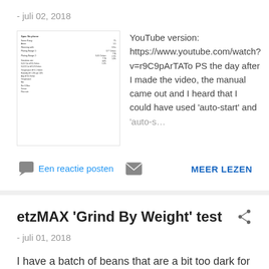- juli 02, 2018
[Figure (screenshot): Thumbnail image of a document/spec sheet with small text]
YouTube version: https://www.youtube.com/watch?v=r9C9pArTATo PS the day after I made the video, the manual came out and I heard that I could have used 'auto-start' and 'auto-s…
Een reactie posten
MEER LEZEN
etzMAX 'Grind By Weight' test
- juli 01, 2018
I have a batch of beans that are a bit too dark for me so these were good to grind away during an 18.0g test of the 'Grind By Weight' option of the etzMAX Medium. Keep in